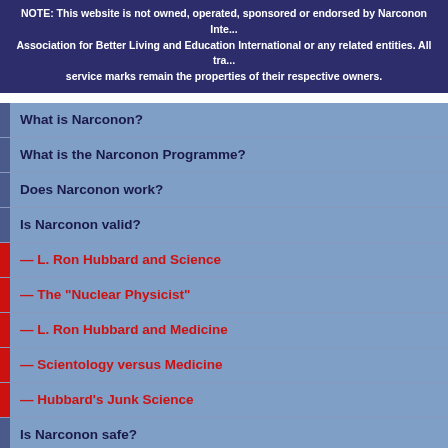NOTE: This website is not owned, operated, sponsored or endorsed by Narconon International, Association for Better Living and Education International or any related entities. All trademarks, service marks remain the properties of their respective owners.
What is Narconon?
What is the Narconon Programme?
Does Narconon work?
Is Narconon valid?
— L. Ron Hubbard and Science
— The "Nuclear Physicist"
— L. Ron Hubbard and Medicine
— Scientology versus Medicine
— Hubbard's Junk Science
Is Narconon safe?
Narconon Watch
Narconon's supporters
Narconon and Scientology
Frequently Asked Questions
Source Documents
Site Map
Contacts